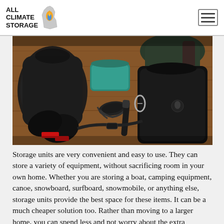ALL CLIMATE STORAGE
[Figure (photo): Overhead flat-lay photo of outdoor/camping gear on a wooden surface, including black rain jacket, fleece jacket, teal stuff sack, headlamp, goggles, black gloves, flashlight, and backpack straps.]
Storage units are very convenient and easy to use. They can store a variety of equipment, without sacrificing room in your own home. Whether you are storing a boat, camping equipment, canoe, snowboard, surfboard, snowmobile, or anything else, storage units provide the best space for these items. It can be a much cheaper solution too. Rather than moving to a larger home, you can spend less and not worry about the extra baggage in your home. Having the peace of mind that your belongings are secured at a great price can go a long ways. Look no further than All Climate Storage. All Climate Storage